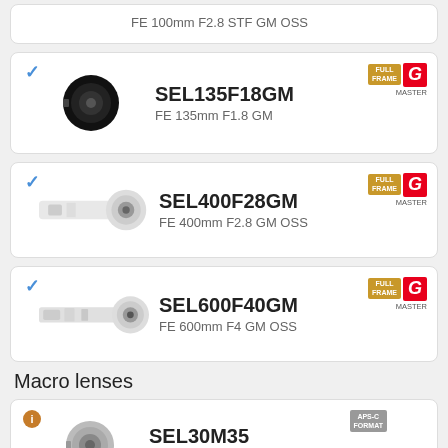FE 100mm F2.8 STF GM OSS
[Figure (photo): SEL135F18GM lens product photo]
SEL135F18GM
FE 135mm F1.8 GM
[Figure (photo): SEL400F28GM lens product photo]
SEL400F28GM
FE 400mm F2.8 GM OSS
[Figure (photo): SEL600F40GM lens product photo]
SEL600F40GM
FE 600mm F4 GM OSS
Macro lenses
[Figure (photo): SEL30M35 lens product photo]
SEL30M35
E 30mm F3.5 Macro